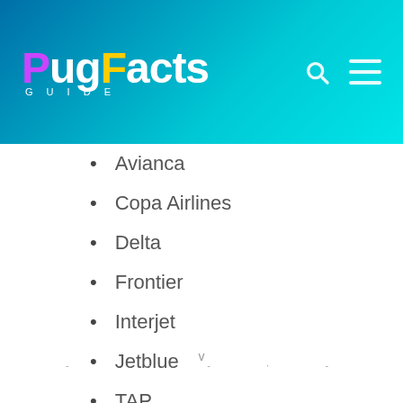PugFacts GUIDE
Avianca
Copa Airlines
Delta
Frontier
Interjet
Jetblue
TAP
Turkish Airlines
United